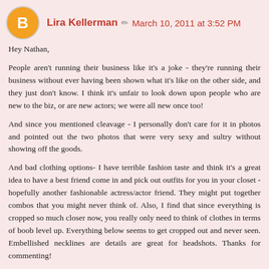Lira Kellerman · March 10, 2011 at 3:52 PM
Hey Nathan,

People aren't running their business like it's a joke - they're running their business without ever having been shown what it's like on the other side, and they just don't know. I think it's unfair to look down upon people who are new to the biz, or are new actors; we were all new once too!

And since you mentioned cleavage - I personally don't care for it in photos and pointed out the two photos that were very sexy and sultry without showing off the goods.

And bad clothing options- I have terrible fashion taste and think it's a great idea to have a best friend come in and pick out outfits for you in your closet - hopefully another fashionable actress/actor friend. They might put together combos that you might never think of. Also, I find that since everything is cropped so much closer now, you really only need to think of clothes in terms of boob level up. Everything below seems to get cropped out and never seen. Embellished necklines are details are great for headshots. Thanks for commenting!